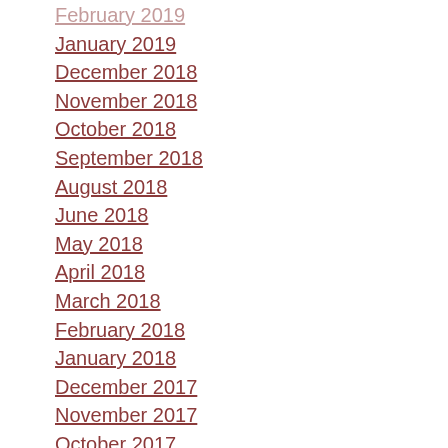February 2019
January 2019
December 2018
November 2018
October 2018
September 2018
August 2018
June 2018
May 2018
April 2018
March 2018
February 2018
January 2018
December 2017
November 2017
October 2017
September 2017
August 2017
July 2017